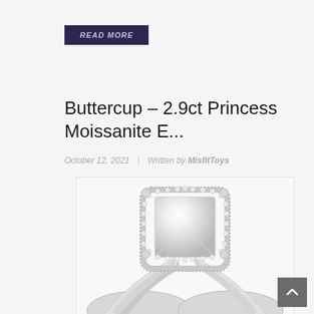[Figure (screenshot): Purple 'READ MORE' button with italic white text on dark purple background]
Buttercup – 2.9ct Princess Moissanite E...
October 12, 2021 | Written by MisfitToys
[Figure (photo): Close-up photo of a princess cut moissanite engagement ring with halo setting and pavé band, silver/white gold color]